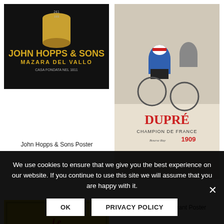[Figure (illustration): John Hopps & Sons vintage advertising poster on dark background with text 'JOHN HOPPS & SONS MAZARA DEL VALLO CASA FONDATA NEL 1811']
John Hopps & Sons Poster
[Figure (illustration): La Francaise Diamant cycling poster showing bicycle racers with text 'DUPRÉ CHAMPION DE FRANCE 1909']
La Francaise Diamant Poster
[Figure (illustration): Le Bourgeon vintage poster showing people in period clothing on yellow background with text 'LE BOURGEON']
[Figure (illustration): Théâtre Cluny Francine vintage poster showing characters with text 'Théâtre CLUNY FRANCINE']
We use cookies to ensure that we give you the best experience on our website. If you continue to use this site we will assume that you are happy with it.
OK  PRIVACY POLICY